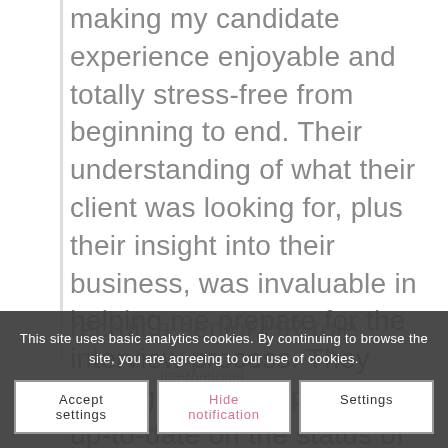making my candidate experience enjoyable and totally stress-free from beginning to end. Their understanding of what their client was looking for, plus their insight into their business, was invaluable in helping me prepare for the interview process. They were great at keeping me up-to-date on the status of the role. Their communication style is really open and honest and I would definitely hire them as a supplier if I needed an external partner to recruit a senior HR role.
International
This site uses basic analytics cookies. By continuing to browse the site, you are agreeing to our use of cookies.